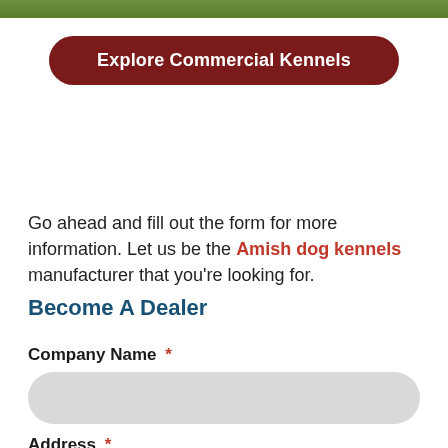[Figure (photo): Green outdoor photo strip at the top of the page]
Explore Commercial Kennels
Go ahead and fill out the form for more information. Let us be the Amish dog kennels manufacturer that you’re looking for.
Become A Dealer
Company Name *
Address *